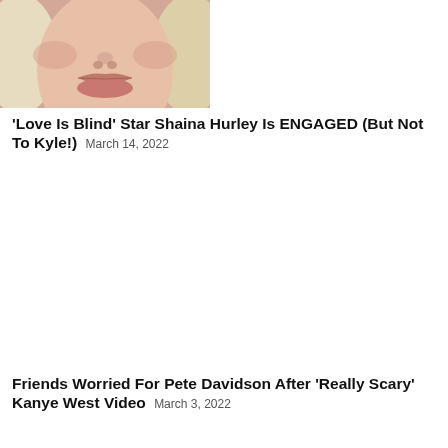[Figure (photo): Close-up photo of a blonde woman's lower face and hair, cropped at the nose]
‘Love Is Blind’ Star Shaina Hurley Is ENGAGED (But Not To Kyle!) March 14, 2022
[Figure (photo): Large white/empty space representing a second article image placeholder]
Friends Worried For Pete Davidson After ‘Really Scary’ Kanye West Video March 3, 2022